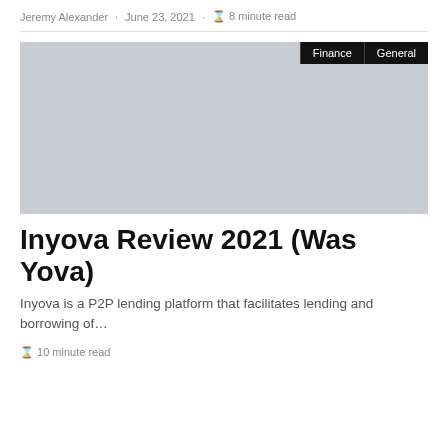Jeremy Alexander · June 23, 2021 · ⊙ 8 minute read
[Figure (photo): Gray placeholder image with Finance and General tags in the upper right corner]
Inyova Review 2021 (Was Yova)
Inyova is a P2P lending platform that facilitates lending and borrowing of…
⊙ 10 minute read